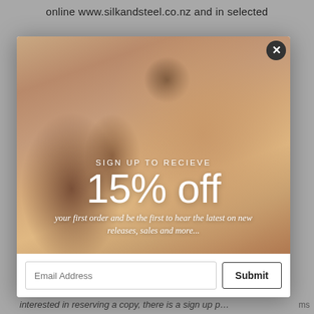online www.silkandsteel.co.nz and in selected
[Figure (photo): Close-up portrait of a woman wearing gold earrings and a gold chain necklace, with a promotional overlay popup modal for a jewelry website (silkandsteel.co.nz) offering 15% off for signing up to the email list.]
SIGN UP TO RECIEVE
15% off
your first order and be the first to hear the latest on new releases, sales and more...
interested in reserving a copy, there is a sign up p...
ms